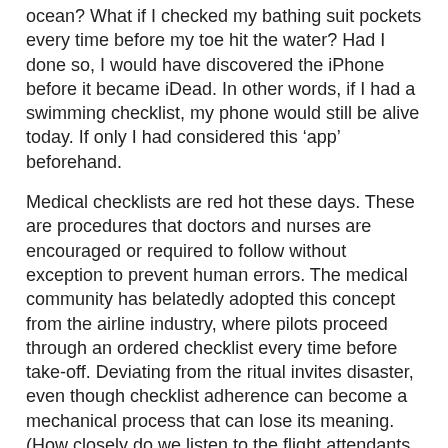ocean? What if I checked my bathing suit pockets every time before my toe hit the water? Had I done so, I would have discovered the iPhone before it became iDead. In other words, if I had a swimming checklist, my phone would still be alive today. If only I had considered this ‘app’ beforehand.
Medical checklists are red hot these days. These are procedures that doctors and nurses are encouraged or required to follow without exception to prevent human errors. The medical community has belatedly adopted this concept from the airline industry, where pilots proceed through an ordered checklist every time before take-off. Deviating from the ritual invites disaster, even though checklist adherence can become a mechanical process that can lose its meaning. (How closely do we listen to the flight attendants as they yawn through their safety presentations at the beginning of flights?) Checklists are being adopted in operating rooms throughout the country to reduce errors such as wrong sight surgeries and other preventable events.
Just this week, I read of two medical horrors that could have been prevented had checklists been followed.